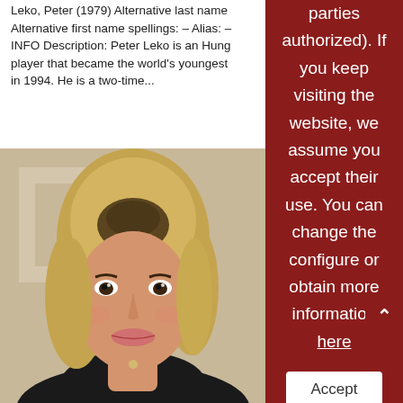Leko, Peter (1979) Alternative last name... Alternative first name spellings: – Alias: – INFO Description: Peter Leko is an Hungarian player that became the world's youngest... in 1994. He is a two-time...
[Figure (photo): Portrait photo of a smiling blonde woman in a dark top, with a decorative background element visible behind her.]
parties authorized). If you keep visiting the website, we assume you accept their use. You can change the configure or obtain more information here
Accept